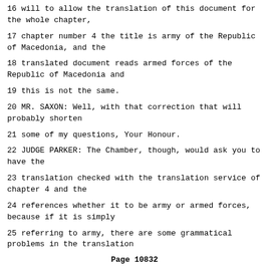16 will to allow the translation of this document for the whole chapter,
17 chapter number 4 the title is army of the Republic of Macedonia, and the
18 translated document reads armed forces of the Republic of Macedonia and
19 this is not the same.
20 MR. SAXON: Well, with that correction that will probably shorten
21 some of my questions, Your Honour.
22 JUDGE PARKER: The Chamber, though, would ask you to have the
23 translation checked with the translation service of chapter 4 and the
24 references whether it to be army or armed forces, because if it is simply
25 referring to army, there are some grammatical problems in the translation
Page 10832
1 of particular articles.